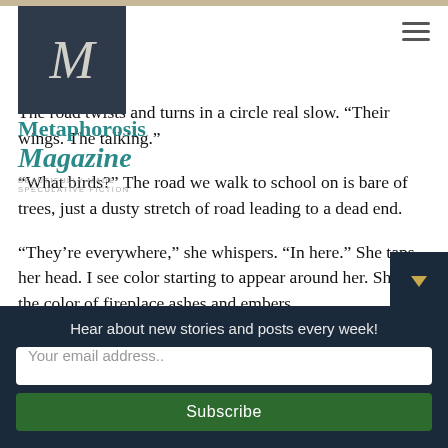[Figure (logo): Metaphorosis Magazine logo with stylized M on dark background, teal 'Metaphorosis' and 'Magazine' text, tagline 'BEAUTIFULLY MADE SPECULATIVE FICTION']
The road twists and turns in a circle real slow. “Their wings. The talking.”
“What birds?” The road we walk to school on is bare of trees, just a dusty stretch of road leading to a dead end.
“They’re everywhere,” she whispers. “In here.” She taps her head. I see color starting to appear around her. She’s the color of fireplace ashes and embers.
I don’t know what to do or say. After a minute she just walks on.
Hear about new stories and posts every week!
Your email address..
Subscribe